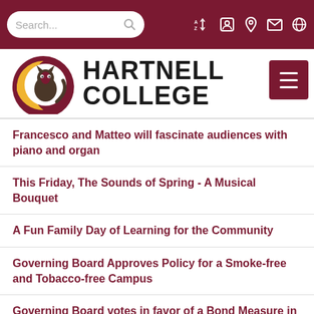Hartnell College – Search and navigation bar
[Figure (logo): Hartnell College logo with mascot (Panther) inside a maroon and gold circular emblem, with 'HARTNELL COLLEGE' text in bold]
Francesco and Matteo will fascinate audiences with piano and organ
This Friday, The Sounds of Spring - A Musical Bouquet
A Fun Family Day of Learning for the Community
Governing Board Approves Policy for a Smoke-free and Tobacco-free Campus
Governing Board votes in favor of a Bond Measure in November ballot
A great outlook of student success in 2015-16 Report to the Community
Groundbreaking of Science Building Tomorrow at Hartnell